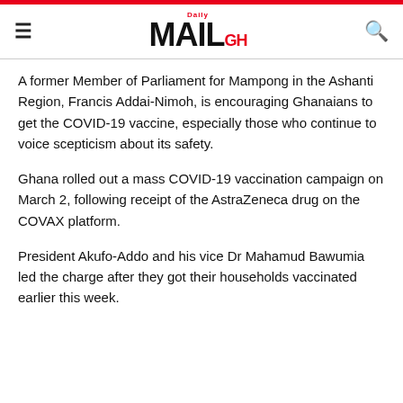Daily MAIL GH
A former Member of Parliament for Mampong in the Ashanti Region, Francis Addai-Nimoh, is encouraging Ghanaians to get the COVID-19 vaccine, especially those who continue to voice scepticism about its safety.
Ghana rolled out a mass COVID-19 vaccination campaign on March 2, following receipt of the AstraZeneca drug on the COVAX platform.
President Akufo-Addo and his vice Dr Mahamud Bawumia led the charge after they got their households vaccinated earlier this week.